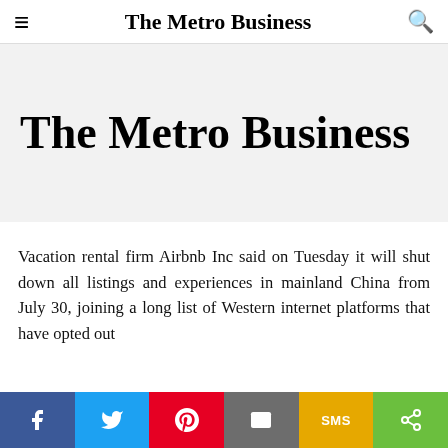The Metro Business
[Figure (logo): The Metro Business large logo on a light gray banner background]
Vacation rental firm Airbnb Inc said on Tuesday it will shut down all listings and experiences in mainland China from July 30, joining a long list of Western internet platforms that have opted out